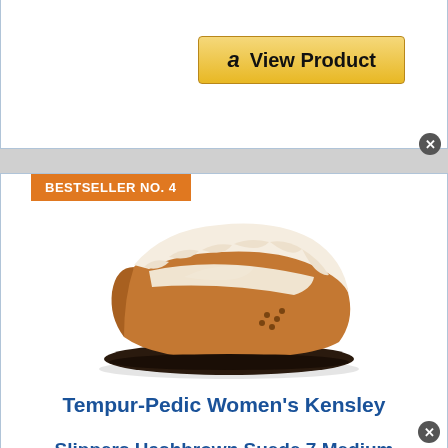[Figure (screenshot): Amazon 'View Product' button with Amazon logo icon on a gold/yellow gradient button]
[Figure (photo): Tempur-Pedic Women's Kensley slipper in hashbrown/tan suede with cream sherpa fur lining and dark rubber sole]
BESTSELLER NO. 4
Tempur-Pedic Women's Kensley Slippers Hashbrown Suede 7 Medium